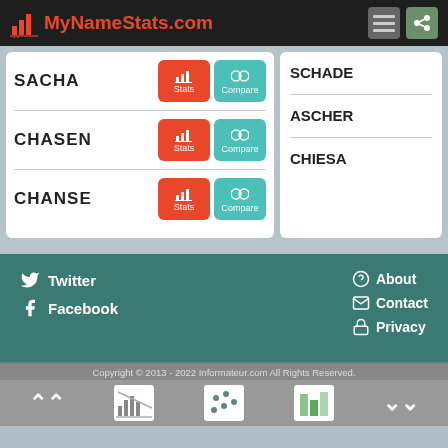MyNameStats.com
SACHA - Stats, Compare
CHASEN - Stats, Compare
CHANSE - Stats, Compare
SCHADE
ASCHER
CHIESA
Twitter | Facebook | About | Contact | Privacy
Copyright © 2013 - 2022 Informateur.com All Rights Reserved.